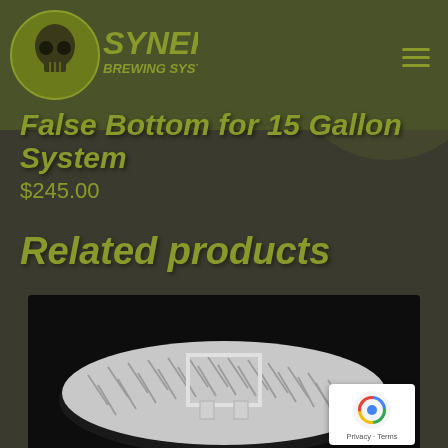[Figure (logo): Synergy Brewing Systems logo — circular emblem with skull graphic and olive/yellow-green text on dark olive background]
False Bottom for 15 Gallon System
$245.00
Related products
[Figure (photo): Product photo of a circular stainless steel false bottom plate with diagonal slots and a square handle bracket, photographed on black background]